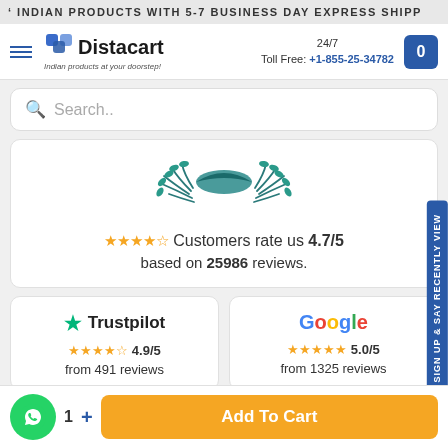INDIAN PRODUCTS WITH 5-7 BUSINESS DAY EXPRESS SHIPP
[Figure (logo): Distacart logo with hamburger menu and cart button, 24/7 toll free number +1-855-25-34782]
Search..
[Figure (illustration): Brand emblem with laurel leaves and teal wing/bird motif]
★★★★☆ Customers rate us 4.7/5 based on 25986 reviews.
[Figure (logo): Trustpilot green star logo with rating 4.9/5 from 491 reviews]
[Figure (logo): Google logo with rating 5.0/5 from 1325 reviews]
Sign up & say RECENTLY VIEW
1 + Add To Cart